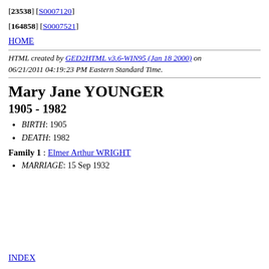[23538] [S0007120]
[164858] [S0007521]
HOME
HTML created by GED2HTML v3.6-WIN95 (Jan 18 2000) on 06/21/2011 04:19:23 PM Eastern Standard Time.
Mary Jane YOUNGER
1905 - 1982
BIRTH: 1905
DEATH: 1982
Family 1 : Elmer Arthur WRIGHT
MARRIAGE: 15 Sep 1932
INDEX